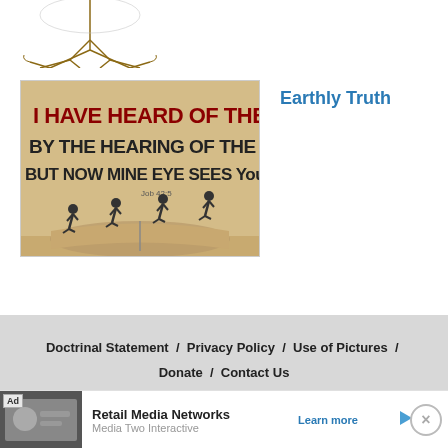[Figure (logo): Tree roots logo for Knowing-Jesus.com website, partial view cropped at top]
[Figure (photo): Image showing open book with silhouettes of walking people and text: I HAVE HEARD OF THEE BY THE HEARING OF THE EAR BUT NOW MINE EYE SEES YOU - Job 42:5]
Earthly Truth
Doctrinal Statement / Privacy Policy / Use of Pictures / Donate / Contact Us
© Copyright [2011 - 2022] Knowing-Jesus.com - All Rights
[Figure (screenshot): Advertisement bar: Ad label, thumbnail image, Retail Media Networks, Media Two Interactive, Learn more button, close button]